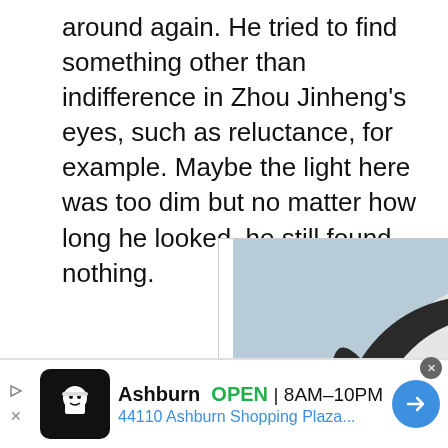around again. He tried to find something other than indifference in Zhou Jinheng's eyes, such as reluctance, for example. Maybe the light here was too dim but no matter how long he looked, he still found nothing.
[Figure (photo): Advertisement showing a black and white Border Collie puppy with striking green/blue eyes looking at the camera, with 'XO PUPS - View Our Furry Friends ...' text below]
[Figure (infographic): Bottom banner advertisement: Ashburn OPEN 8AM-10PM, 44110 Ashburn Shopping Plaza... with a chef/restaurant logo icon on the left and a blue navigation arrow button on the right]